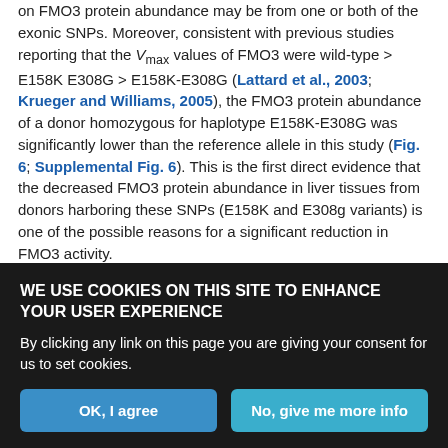on FMO3 protein abundance may be from one or both of the exonic SNPs. Moreover, consistent with previous studies reporting that the Vmax values of FMO3 were wild-type > E158K E308G > E158K-E308G (Lattard et al., 2003; Krueger and Williams, 2005), the FMO3 protein abundance of a donor homozygous for haplotype E158K-E308G was significantly lower than the reference allele in this study (Fig. 6; Supplemental Fig. 6). This is the first direct evidence that the decreased FMO3 protein abundance in liver tissues from donors harboring these SNPs (E158K and E308g variants) is one of the possible reasons for a significant reduction in FMO3 activity.

This study had some limitations. For instance, although we
[Figure (screenshot): Cookie consent banner with dark background. Title: 'WE USE COOKIES ON THIS SITE TO ENHANCE YOUR USER EXPERIENCE'. Body: 'By clicking any link on this page you are giving your consent for us to set cookies.' Two buttons: 'OK, I agree' and 'No, give me more info'.]